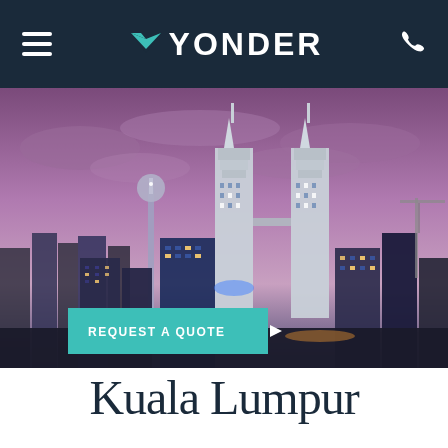YONDER
[Figure (photo): Kuala Lumpur city skyline at dusk/night with the Petronas Twin Towers prominently featured, purple-pink sky, city lights, and a teal 'REQUEST A QUOTE' button overlay]
Kuala Lumpur